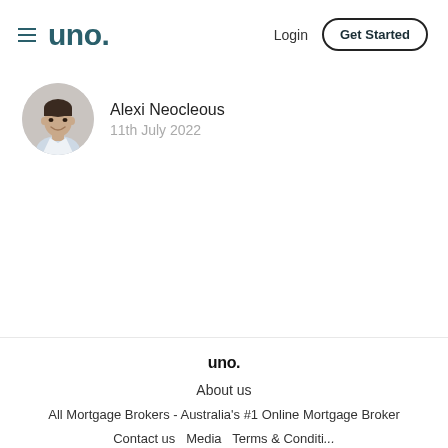uno. | Login | Get Started
Alexi Neocleous
11th July 2022
uno.
About us
All Mortgage Brokers - Australia's #1 Online Mortgage Broker
Contact us  Media  Terms & Conditions